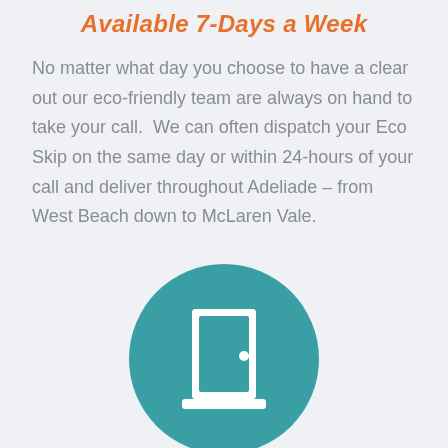Available 7-Days a Week
No matter what day you choose to have a clear out our eco-friendly team are always on hand to take your call.  We can often dispatch your Eco Skip on the same day or within 24-hours of your call and deliver throughout Adeliade – from West Beach down to McLaren Vale.
[Figure (illustration): Teal circular icon containing a white door/exit symbol with a small doorknob dot, on a light gray background.]